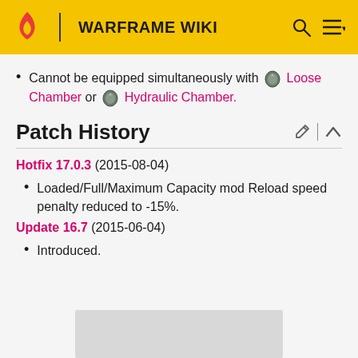WARFRAME WIKI
Cannot be equipped simultaneously with Loose Chamber or Hydraulic Chamber.
Patch History
Hotfix 17.0.3 (2015-08-04)
Loaded/Full/Maximum Capacity mod Reload speed penalty reduced to -15%.
Update 16.7 (2015-06-04)
Introduced.